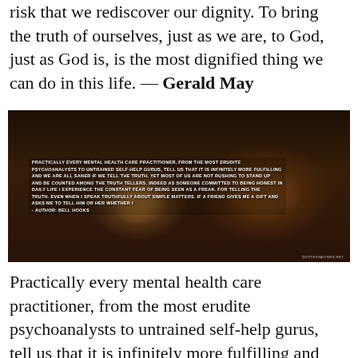risk that we rediscover our dignity. To bring the truth of ourselves, just as we are, to God, just as God is, is the most dignified thing we can do in this life. — Gerald May
[Figure (photo): Dark photo of a tea cup with lemon on a saucer, overlaid with white bold uppercase text quote about mental health practitioners and truth-telling, attributed to bell hooks. Watermark: QUOTESSAYINGS.NET]
Practically every mental health care practitioner, from the most erudite psychoanalysts to untrained self-help gurus, tell us that it is infinitely more fulfilling and we